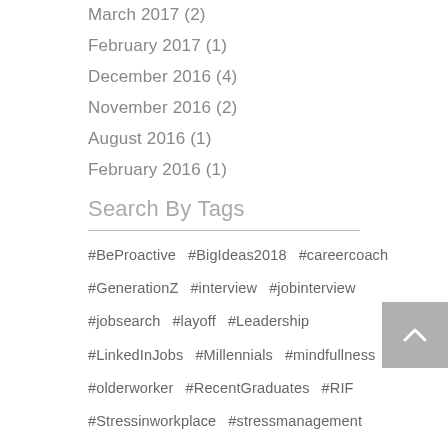March 2017 (2)
February 2017 (1)
December 2016 (4)
November 2016 (2)
August 2016 (1)
February 2016 (1)
Search By Tags
#BeProactive  #BigIdeas2018  #careercoach  #GenerationZ  #interview  #jobinterview  #jobsearch  #layoff  #Leadership  #LinkedInJobs  #Millennials  #mindfullness  #olderworker  #RecentGraduates  #RIF  #Stressinworkplace  #stressmanagement  #vacation  #workforcereduction  advice  Anxiety  authentic  Bio